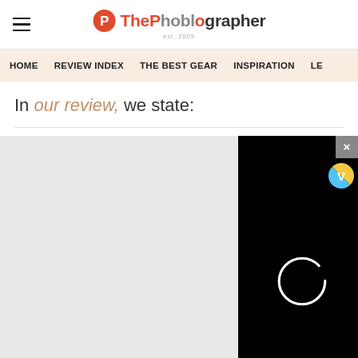ThePhoblographer - est. 2009
HOME | REVIEW INDEX | THE BEST GEAR | INSPIRATION | LE...
In our review, we state:
[Figure (screenshot): A video player overlay on a dark background showing a loading spinner circle on a black video overlay, with a close (X) button in the top right and a V-badge icon, overlapping a gray image placeholder area.]